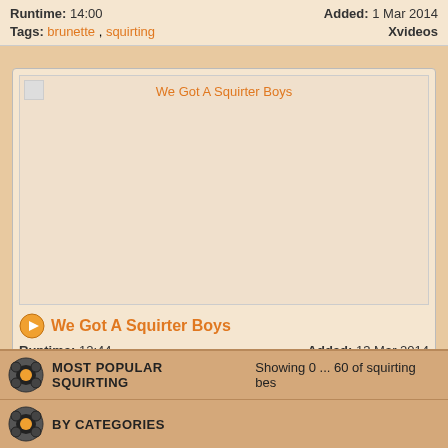Runtime: 14:00   Added: 1 Mar 2014
Tags: brunette , squirting   Xvideos
[Figure (screenshot): Video thumbnail placeholder with title 'We Got A Squirter Boys' in orange text, broken image icon in top-left corner]
We Got A Squirter Boys
Runtime: 12:44   Added: 13 Mar 2014
Tags: anal , boys , squirter , squirting , t...   VPorn
MOST POPULAR SQUIRTING   Showing 0 ... 60 of squirting bes
BY CATEGORIES